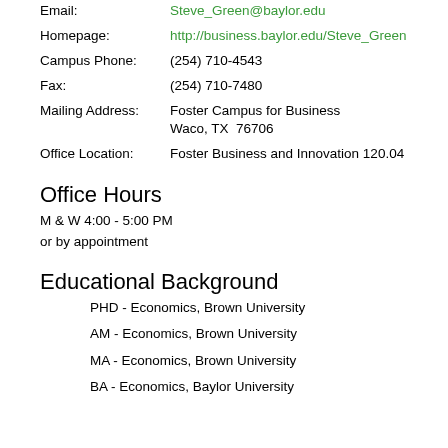Email: Steve_Green@baylor.edu
Homepage: http://business.baylor.edu/Steve_Green
Campus Phone: (254) 710-4543
Fax: (254) 710-7480
Mailing Address: Foster Campus for Business, Waco, TX  76706
Office Location: Foster Business and Innovation 120.04
Office Hours
M & W 4:00 - 5:00 PM
or by appointment
Educational Background
PHD - Economics, Brown University
AM - Economics, Brown University
MA - Economics, Brown University
BA - Economics, Baylor University